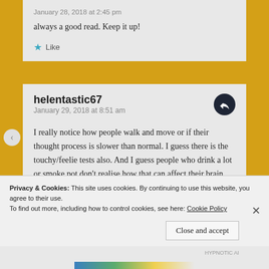January 28, 2018 at 2:45 pm
always a good read. Keep it up!
Like
helentastic67
January 29, 2018 at 8:51 am
I really notice how people walk and move or if their thought process is slower than normal. I guess there is the touchy/feelie tests also. And I guess people who drink a lot or smoke pot don't realise how that can affect their brain processing either. Cheers,H
Privacy & Cookies: This site uses cookies. By continuing to use this website, you agree to their use.
To find out more, including how to control cookies, see here: Cookie Policy
Close and accept